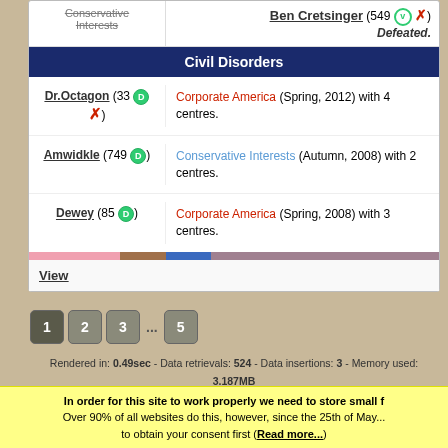| Player | Info |
| --- | --- |
| Conservative Interests (strikethrough) | Ben Cretsinger (549 ✓ ✗) Defeated. |
| Civil Disorders (header) |  |
| Dr.Octagon (33 D ✗) | Corporate America (Spring, 2012) with 4 centres. |
| Amwidkle (749 D) | Conservative Interests (Autumn, 2008) with 2 centres. |
| Dewey (85 D) | Corporate America (Spring, 2008) with 3 centres. |
View
1 2 3 ... 5
Rendered in: 0.49sec - Data retrievals: 524 - Data insertions: 3 - Memory used: 3.187MB
Logged on: 25 - Playing: 1005 - Registered: 20285 - Pages served: 93976303 Starting games: 21 - Joinable games: 0 - Active games: 302 - Finished games: 30625
In order for this site to work properly we need to store small f... Over 90% of all websites do this, however, since the 25th of May... to obtain your consent first (Read more...)